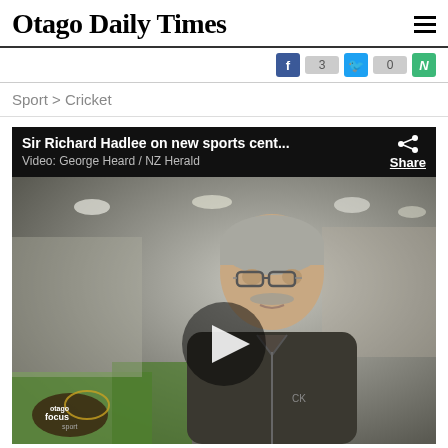Otago Daily Times
f 3  (twitter) 0  N
Sport > Cricket
[Figure (screenshot): Video player showing Sir Richard Hadlee on new sports cent... Video: George Heard / NZ Herald. Shows an elderly man with grey hair and moustache wearing glasses and a dark zip-up jacket, standing in what appears to be a sports facility. A circular play button overlay is visible. Bottom left shows 'Otago focus sport' logo. Top right has a Share button.]